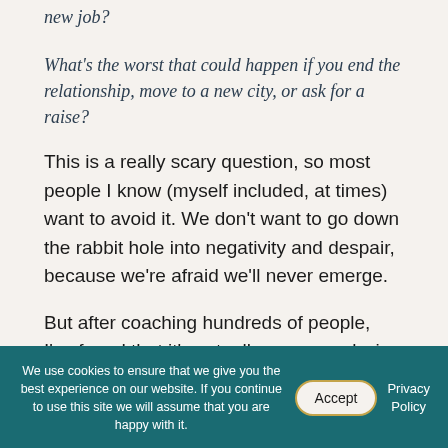new job?
What's the worst that could happen if you end the relationship, move to a new city, or ask for a raise?
This is a really scary question, so most people I know (myself included, at times) want to avoid it. We don't want to go down the rabbit hole into negativity and despair, because we're afraid we'll never emerge.
But after coaching hundreds of people, I've found that it's actually more paralyzing to NOT consider the worst-case scenario. The worst-case scenario is way more terrifying when it's an unknown. Your fear is
We use cookies to ensure that we give you the best experience on our website. If you continue to use this site we will assume that you are happy with it.